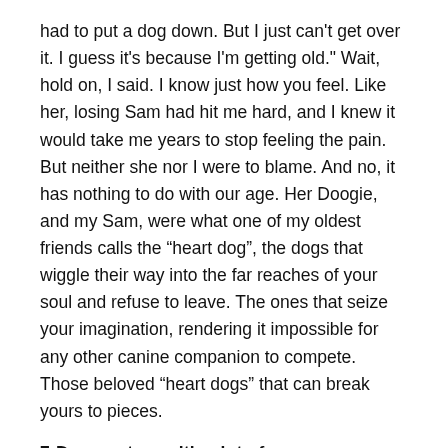had to put a dog down. But I just can't get over it. I guess it's because I'm getting old." Wait, hold on, I said. I know just how you feel. Like her, losing Sam had hit me hard, and I knew it would take me years to stop feeling the pain. But neither she nor I were to blame. And no, it has nothing to do with our age. Her Doogie, and my Sam, were what one of my oldest friends calls the “heart dog”, the dogs that wiggle their way into the far reaches of your soul and refuse to leave. The ones that seize your imagination, rendering it impossible for any other canine companion to compete. Those beloved “heart dogs” that can break yours to pieces.
7-Dogs put up with a lot of our crap
Christmas is around the corner. People are hauling out the decorations and scrambling through street markets or big box stores for the perfect tree, dazzling lights and